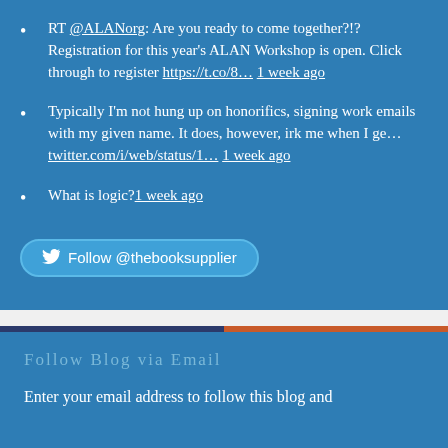RT @ALANorg: Are you ready to come together?!? Registration for this year's ALAN Workshop is open. Click through to register https://t.co/8… 1 week ago
Typically I'm not hung up on honorifics, signing work emails with my given name. It does, however, irk me when I ge… twitter.com/i/web/status/1… 1 week ago
What is logic? 1 week ago
Follow @thebooksupplier
Follow Blog via Email
Enter your email address to follow this blog and